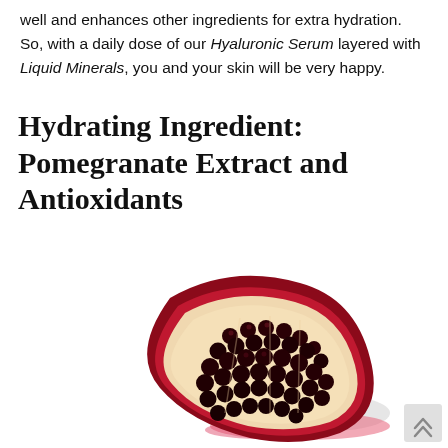well and enhances other ingredients for extra hydration. So, with a daily dose of our Hyaluronic Serum layered with Liquid Minerals, you and your skin will be very happy.
Hydrating Ingredient: Pomegranate Extract and Antioxidants
[Figure (photo): A cut pomegranate half showing deep red arils/seeds with pink juice pooling beneath, photographed on a white background.]